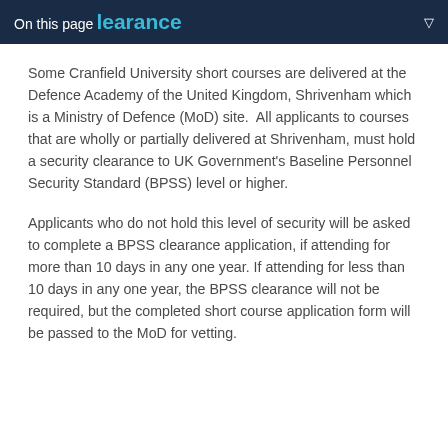On this page clearance
Some Cranfield University short courses are delivered at the Defence Academy of the United Kingdom, Shrivenham which is a Ministry of Defence (MoD) site.  All applicants to courses that are wholly or partially delivered at Shrivenham, must hold a security clearance to UK Government's Baseline Personnel Security Standard (BPSS) level or higher.
Applicants who do not hold this level of security will be asked to complete a BPSS clearance application, if attending for more than 10 days in any one year. If attending for less than 10 days in any one year, the BPSS clearance will not be required, but the completed short course application form will be passed to the MoD for vetting.